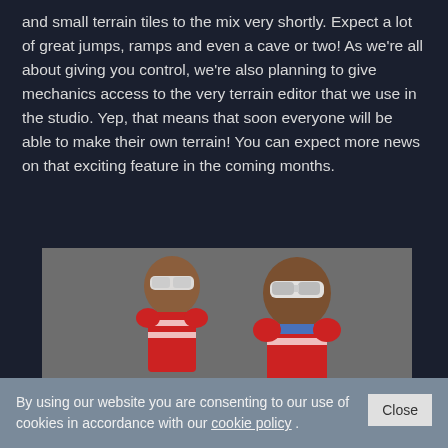and small terrain tiles to the mix very shortly. Expect a lot of great jumps, ramps and even a cave or two! As we're all about giving you control, we're also planning to give mechanics access to the very terrain editor that we use in the studio. Yep, that means that soon everyone will be able to make their own terrain! You can expect more news on that exciting feature in the coming months.
[Figure (screenshot): Screenshot showing two 3D game characters wearing white goggles and red/white outfits, viewed from behind/side angle]
By using our website you are consenting to our use of cookies in accordance with our cookie policy .